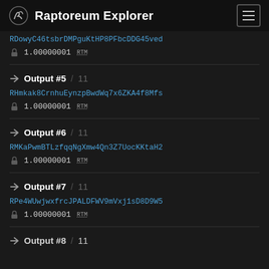Raptoreum Explorer
RDowyC46tsbrDMPguKtHP8PFbcDDG45ved
1.00000001 RTM
Output #5 / 11
RHmkak8CrnhuEynzpBwdWq7x6ZKA4f8Mfs
1.00000001 RTM
Output #6 / 11
RMKaPwmBTLzfqqNgXmw4Qn3Z7UocKKtaH2
1.00000001 RTM
Output #7 / 11
RPe4WUwjwxfrcJPALDFWV9mVxj1sD8D9W5
1.00000001 RTM
Output #8 / 11